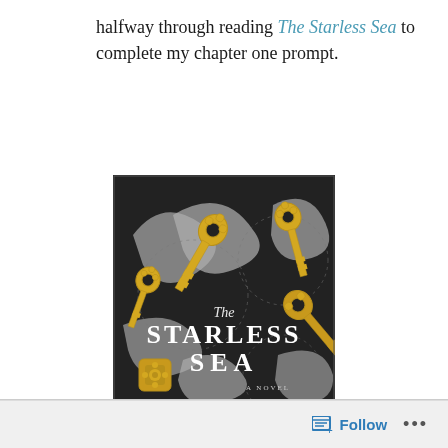halfway through reading The Starless Sea to complete my chapter one prompt.
[Figure (photo): Book cover of 'The Starless Sea' by Erin Morgenstern. Dark background with golden ornate keys and grey ribbon swirls. Text reads: The STARLESS SEA A NOVEL ERIN MORGENSTERN Author of THE NIGHT CIRCUS]
Follow ...